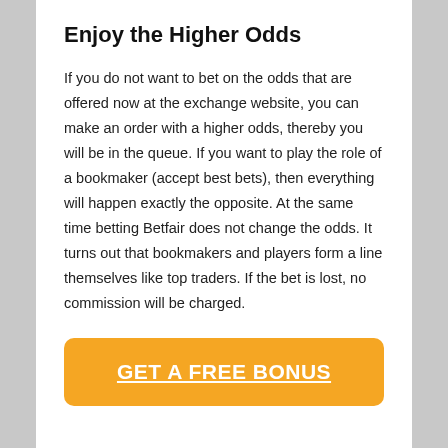Enjoy the Higher Odds
If you do not want to bet on the odds that are offered now at the exchange website, you can make an order with a higher odds, thereby you will be in the queue. If you want to play the role of a bookmaker (accept best bets), then everything will happen exactly the opposite. At the same time betting Betfair does not change the odds. It turns out that bookmakers and players form a line themselves like top traders. If the bet is lost, no commission will be charged.
GET A FREE BONUS